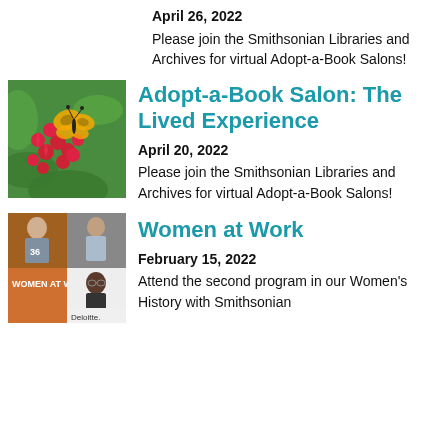April 26, 2022
Please join the Smithsonian Libraries and Archives for virtual Adopt-a-Book Salons!
[Figure (photo): A butterfly perched on bright red flowers against a green background]
Adopt-a-Book Salon: The Lived Experience
April 20, 2022
Please join the Smithsonian Libraries and Archives for virtual Adopt-a-Book Salons!
[Figure (photo): A collage of black and white photos of women at work with text 'WOMEN AT WORK' and 'Deloitte.' label]
Women at Work
February 15, 2022
Attend the second program in our Women's History with Smithsonian